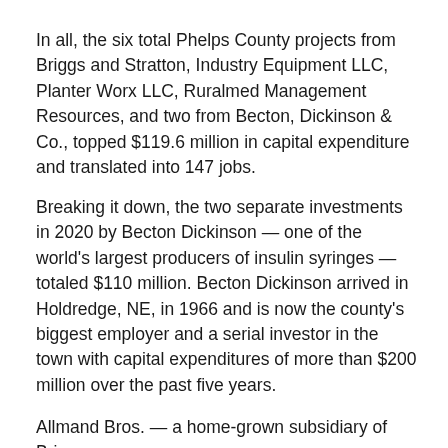In all, the six total Phelps County projects from Briggs and Stratton, Industry Equipment LLC, Planter Worx LLC, Ruralmed Management Resources, and two from Becton, Dickinson & Co., topped $119.6 million in capital expenditure and translated into 147 jobs.
Breaking it down, the two separate investments in 2020 by Becton Dickinson — one of the world's largest producers of insulin syringes —  totaled $110 million. Becton Dickinson arrived in Holdredge, NE, in 1966 and is now the county's biggest employer and a serial investor in the town with capital expenditures of more than $200 million over the past five years.
Allmand Bros. — a home-grown subsidiary of Briggs